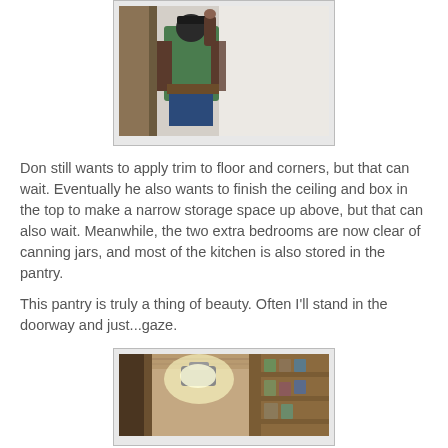[Figure (photo): Person in green vest and dark clothing painting or working on a wall, viewed from behind. Light-colored wall on the right.]
Don still wants to apply trim to floor and corners, but that can wait. Eventually he also wants to finish the ceiling and box in the top to make a narrow storage space up above, but that can also wait. Meanwhile, the two extra bedrooms are now clear of canning jars, and most of the kitchen is also stored in the pantry.
This pantry is truly a thing of beauty. Often I'll stand in the doorway and just...gaze.
[Figure (photo): Interior of a pantry showing wooden shelves with various jars and cans. A light fixture is visible, and shelves are stocked with preserved foods.]